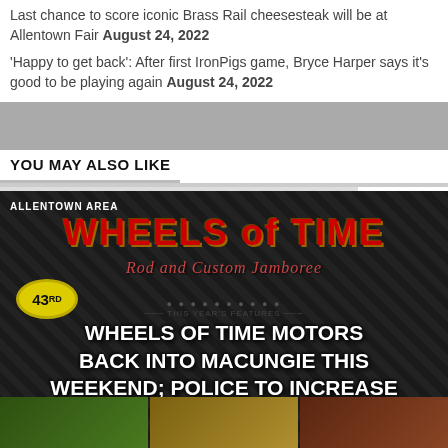Last chance to score iconic Brass Rail cheesesteak will be at Allentown Fair August 24, 2022
'Happy to get back': After first IronPigs game, Bryce Harper says it's good to be playing again August 24, 2022
YOU MAY ALSO LIKE
[Figure (photo): Wheels of Time Rod and Custom Jamboree 43rd promotional banner image with diamond plate background, red and gold lettering. Bottom shows three thumbnail images of vehicles. Category tag: ALLENTOWN AREA.]
WHEELS OF TIME MOTORS BACK INTO MACUNGIE THIS WEEKEND; POLICE TO INCREASE PATROLS